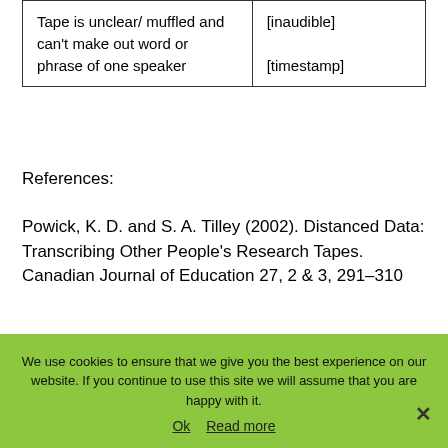| Tape is unclear/ muffled and can't make out word or phrase of one speaker | [inaudible]
[timestamp] |
References:
Powick, K. D. and S. A. Tilley (2002). Distanced Data: Transcribing Other People's Research Tapes. Canadian Journal of Education 27, 2 & 3, 291–310
We use cookies to ensure that we give you the best experience on our website. If you continue to use this site we will assume that you are happy with it.
Ok   Read more